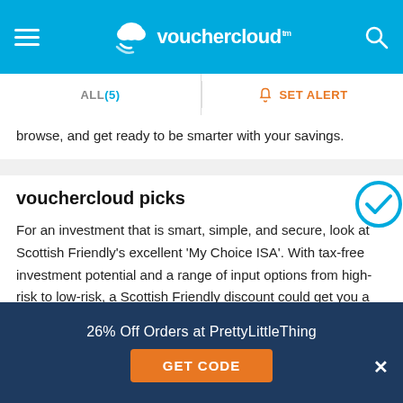vouchercloud
ALL (5)   SET ALERT
browse, and get ready to be smarter with your savings.
vouchercloud picks
For an investment that is smart, simple, and secure, look at Scottish Friendly's excellent 'My Choice ISA'. With tax-free investment potential and a range of input options from high-risk to low-risk, a Scottish Friendly discount could get you a great deal on a My Choice ISA. Utilising the long-term growth opportunities of the stock market, and with flexible options of how much you can invest throughout, a My Choice ISA from Scottish Friendly's is an astute investment idea for everybody.
26% Off Orders at PrettyLittleThing
GET CODE